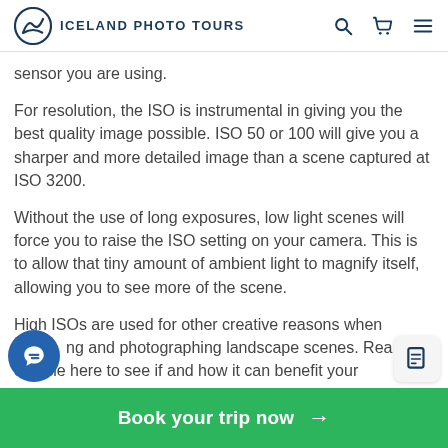ICELAND PHOTO TOURS
sensor you are using.
For resolution, the ISO is instrumental in giving you the best quality image possible. ISO 50 or 100 will give you a sharper and more detailed image than a scene captured at ISO 3200.
Without the use of long exposures, low light scenes will force you to raise the ISO setting on your camera. This is to allow that tiny amount of ambient light to magnify itself, allowing you to see more of the scene.
High ISOs are used for other creative reasons when [shooting] and photographing landscape scenes. Read our article here to see if and how it can benefit your [photography].
Book your trip now